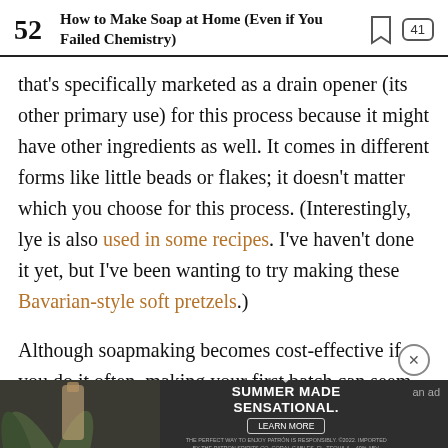52  How to Make Soap at Home (Even if You Failed Chemistry)  [bookmark icon] 41
that's specifically marketed as a drain opener (its other primary use) for this process because it might have other ingredients as well. It comes in different forms like little beads or flakes; it doesn't matter which you choose for this process. (Interestingly, lye is also used in some recipes. I've haven't done it yet, but I've been wanting to try making these Bavarian-style soft pretzels.)
Although soapmaking becomes cost-effective if you do it often, making your first batch can seem like a bit of an investment since none of the tools can be
[Figure (photo): Advertisement banner for Patron tequila: 'SUMMER MADE SENSATIONAL.' with a LEARN MORE button. Fine print: THE PERFECT WAY TO ENJOY PATRON IS RESPONSIBLY. Shows bottle of Patron on left side. Labeled 'an ad' on the right.]